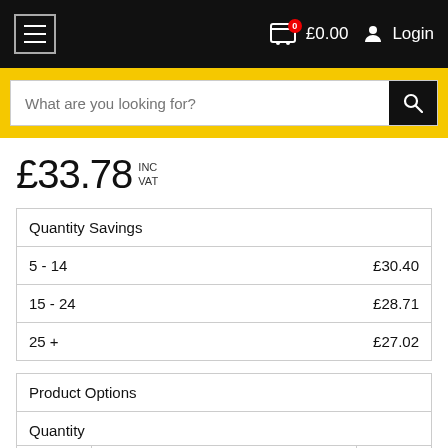Navigation bar with hamburger menu, cart showing £0.00, and Login link
What are you looking for?
£33.78 INC VAT
| Quantity Savings |  |
| --- | --- |
| 5 - 14 | £30.40 |
| 15 - 24 | £28.71 |
| 25 + | £27.02 |
Product Options
Quantity
1